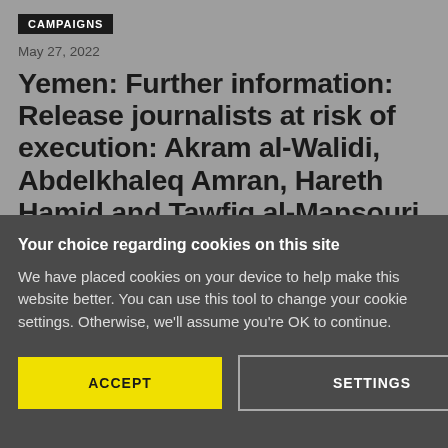CAMPAIGNS
May 27, 2022
Yemen: Further information: Release journalists at risk of execution: Akram al-Walidi, Abdelkhaleq Amran, Hareth Hamid and Tawfiq al-Mansouri
Your choice regarding cookies on this site
We have placed cookies on your device to help make this website better. You can use this tool to change your cookie settings. Otherwise, we'll assume you're OK to continue.